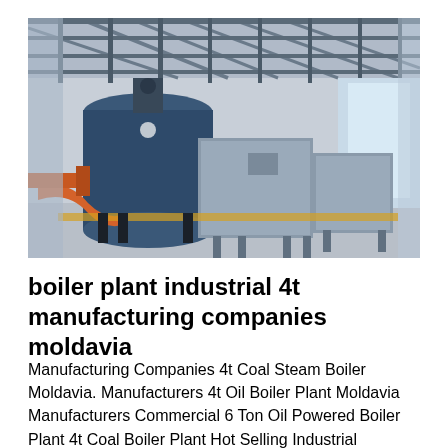[Figure (photo): Industrial boiler plant interior showing large cylindrical blue boilers and grey rectangular equipment units inside a steel-framed factory building with metal roof trusses and orange pipe fittings.]
boiler plant industrial 4t manufacturing companies moldavia
Manufacturing Companies 4t Coal Steam Boiler Moldavia. Manufacturers 4t Oil Boiler Plant Moldavia Manufacturers Commercial 6 Ton Oil Powered Boiler Plant 4t Coal Boiler Plant Hot Selling Industrial Ukraine. Oil/Gas Boiler for sa...